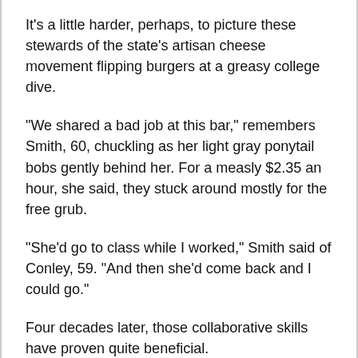It's a little harder, perhaps, to picture these stewards of the state's artisan cheese movement flipping burgers at a greasy college dive.
"We shared a bad job at this bar," remembers Smith, 60, chuckling as her light gray ponytail bobs gently behind her. For a measly $2.35 an hour, she said, they stuck around mostly for the free grub.
"She'd go to class while I worked," Smith said of Conley, 59. "And then she'd come back and I could go."
Four decades later, those collaborative skills have proven quite beneficial.
As the founders of Cowgirl Creamery, Conley and Smith have turned a small dairy business - a passion project initially into a multifaceted enterprise. T...